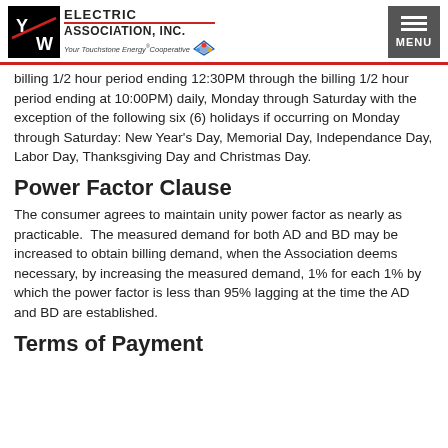Y/W Electric Association, Inc. — Your Touchstone Energy Cooperative
billing 1/2 hour period ending 12:30PM through the billing 1/2 hour period ending at 10:00PM) daily, Monday through Saturday with the exception of the following six (6) holidays if occurring on Monday through Saturday: New Year's Day, Memorial Day, Independance Day, Labor Day, Thanksgiving Day and Christmas Day.
Power Factor Clause
The consumer agrees to maintain unity power factor as nearly as practicable.  The measured demand for both AD and BD may be increased to obtain billing demand, when the Association deems necessary, by increasing the measured demand, 1% for each 1% by which the power factor is less than 95% lagging at the time the AD and BD are established.
Terms of Payment